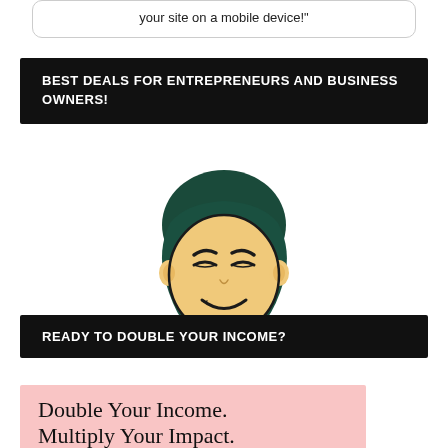your site on a mobile device!"
BEST DEALS FOR ENTREPRENEURS AND BUSINESS OWNERS!
[Figure (illustration): Cartoon mascot: a smiling Asian-style face with teal/dark hair in a bun, squinting eyes, and a smirk, round face with ears visible, black outlines on cream/tan skin.]
READY TO DOUBLE YOUR INCOME?
Double Your Income. Multiply Your Impact.